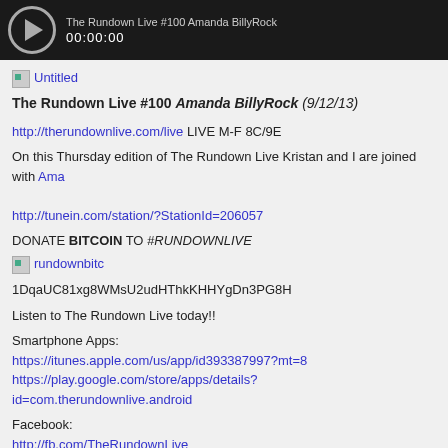[Figure (screenshot): Media player bar showing play button and timestamp 00:00:00 on dark background]
[Figure (photo): Broken image placeholder labeled 'Untitled']
The Rundown Live #100 Amanda BillyRock (9/12/13)
http://therundownlive.com/live LIVE M-F 8C/9E
On this Thursday edition of The Rundown Live Kristan and I are joined with Ama...
http://tunein.com/station/?StationId=206057
DONATE BITCOIN TO #RUNDOWNLIVE
[Figure (photo): Broken image placeholder labeled 'rundownbitc']
1DqaUC81xg8WMsU2udHThkKHHYgDn3PG8H
Listen to The Rundown Live today!!
Smartphone Apps:
https://itunes.apple.com/us/app/id393387997?mt=8
https://play.google.com/store/apps/details?id=com.therundownlive.android
Facebook:
http://fb.com/TheRundownLive
http://www.facebook.com/bigpzone
https://www.facebook.com/wearechangemilwaukee
Twitter:
http://twitter.com/RundownLive
http://twitter.com/bigpzone
Subscribe to "The Awakening" List here: